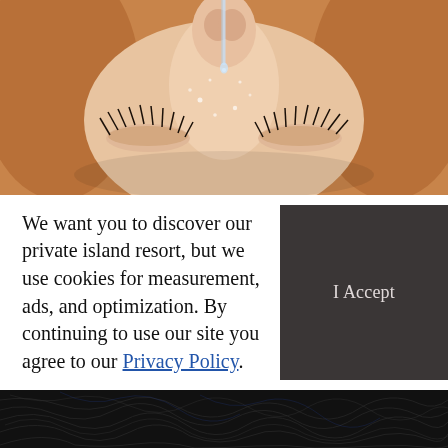[Figure (photo): Close-up top-down photo of a person's face lying back with eyes closed, receiving a beauty/spa treatment with a dropper applying oil or serum to the nose/forehead area. Warm skin tones, sparkling droplets visible on the skin.]
We want you to discover our private island resort, but we use cookies for measurement, ads, and optimization. By continuing to use our site you agree to our Privacy Policy.
[Figure (other): Dark charcoal/grey button box with centered text 'I Accept']
[Figure (photo): Close-up photo of dark hair strands, dark tones, partial view at the bottom of the page.]